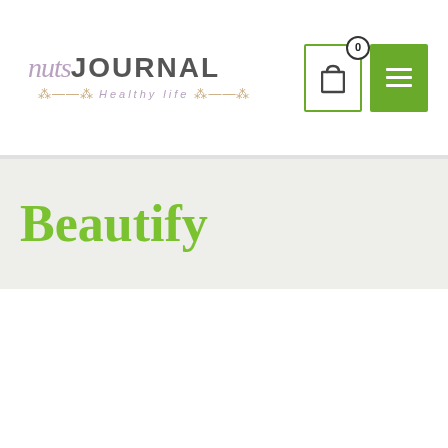Nuts Journal – Healthy life
Beautify